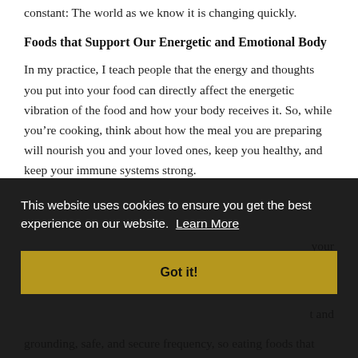constant: The world as we know it is changing quickly.
Foods that Support Our Energetic and Emotional Body
In my practice, I teach people that the energy and thoughts you put into your food can directly affect the energetic vibration of the food and how your body receives it. So, while you’re cooking, think about how the meal you are preparing will nourish you and your loved ones, keep you healthy, and keep your immune systems strong.
your
t and
grounding, safe, and secure frequency, so eating foods that
This website uses cookies to ensure you get the best experience on our website. Learn More
Got it!